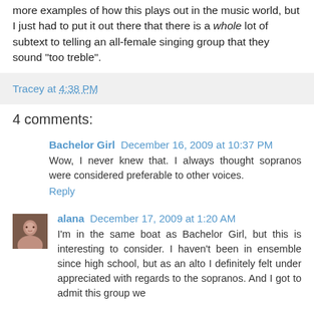more examples of how this plays out in the music world, but I just had to put it out there that there is a whole lot of subtext to telling an all-female singing group that they sound "too treble".
Tracey at 4:38 PM
4 comments:
Bachelor Girl  December 16, 2009 at 10:37 PM
Wow, I never knew that. I always thought sopranos were considered preferable to other voices.
Reply
alana  December 17, 2009 at 1:20 AM
I'm in the same boat as Bachelor Girl, but this is interesting to consider. I haven't been in ensemble since high school, but as an alto I definitely felt under appreciated with regards to the sopranos. And I got to admit this group we...